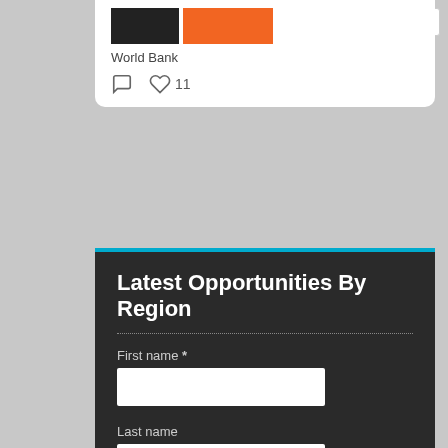[Figure (screenshot): Card with dark image thumbnail and orange button strip at the top]
World Bank
[Figure (infographic): Comment icon and heart icon with count 11]
[Figure (screenshot): English language dropdown with UK flag]
Latest Opportunities By Region
First name *
Last name
Email *